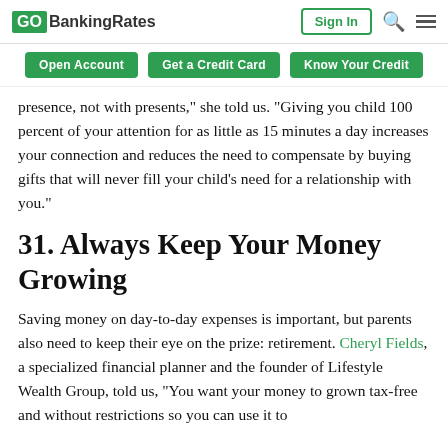GOBankingRates | Sign In
Open Account | Get a Credit Card | Know Your Credit
presence, not with presents," she told us. "Giving you child 100 percent of your attention for as little as 15 minutes a day increases your connection and reduces the need to compensate by buying gifts that will never fill your child's need for a relationship with you."
31. Always Keep Your Money Growing
Saving money on day-to-day expenses is important, but parents also need to keep their eye on the prize: retirement. Cheryl Fields, a specialized financial planner and the founder of Lifestyle Wealth Group, told us, "You want your money to grown tax-free and without restrictions so you can use it to